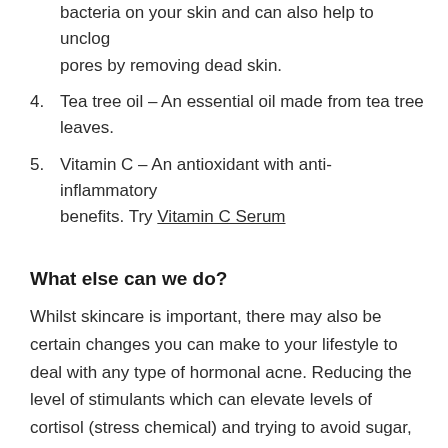bacteria on your skin and can also help to unclog pores by removing dead skin.
4. Tea tree oil – An essential oil made from tea tree leaves.
5. Vitamin C – An antioxidant with anti-inflammatory benefits. Try Vitamin C Serum
What else can we do?
Whilst skincare is important, there may also be certain changes you can make to your lifestyle to deal with any type of hormonal acne. Reducing the level of stimulants which can elevate levels of cortisol (stress chemical) and trying to avoid sugar, dairy, caffeine and red meat which can all lead to higher levels of inflammation.
Getting the right amount of sleep and drinking enough